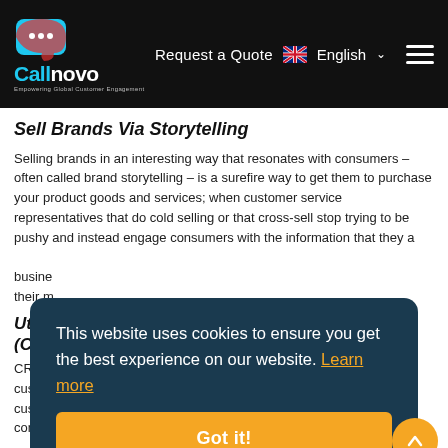[Figure (logo): Callnovo logo with speech bubble icon, 'Empowering Global Customer Engagement' tagline, on black header bar]
Request a Quote  English  [hamburger menu]
Sell Brands Via Storytelling
Selling brands in an interesting way that resonates with consumers – often called brand storytelling – is a surefire way to get them to purchase your product goods and services; when customer service representatives that do cold selling or that cross-sell stop trying to be pushy and instead engage consumers with the information that they a... busine... their m...
Utiliz... (CRM...
CRM p... custo... custo... Management software a nice way for streamlining communication
This website uses cookies to ensure you get the best experience on our website. Learn more
Got it!